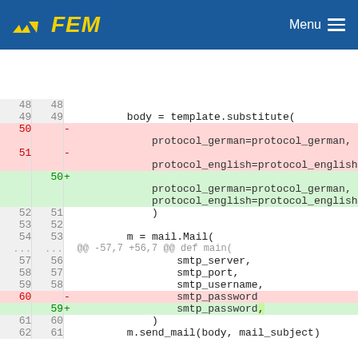FEM  Menu
[Figure (screenshot): Code diff view showing changes to a Python file. Lines 48-62 with deletions (red) and additions (green). Changes replace separate protocol_german/protocol_english lines with combined lines, and smtp_password without comma replaced by smtp_password with comma.]